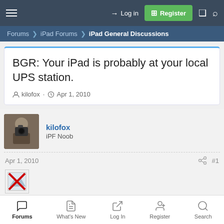Login | Register
Forums > iPad Forums > iPad General Discussions
BGR: Your iPad is probably at your local UPS station.
kilofox · Apr 1, 2010
kilofox
iPF Noob
Apr 1, 2010  #1
[Figure (other): Broken image placeholder with red X]
Forums | What's New | Log In | Register | Search